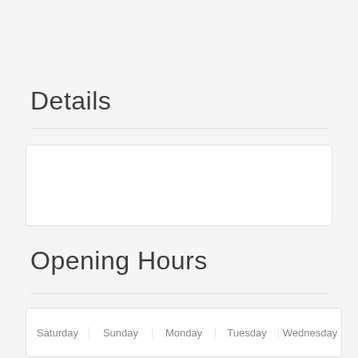Details
| Location / Region |  |
| --- | --- |
| Location / Region | Industrial Areas/ Nizwa |
Opening Hours
| Saturday | Sunday | Monday | Tuesday | Wednesday |
| --- | --- | --- | --- | --- |